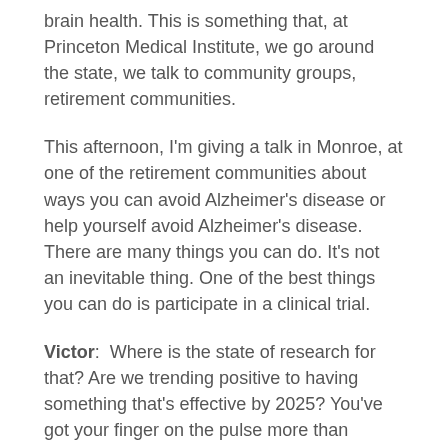brain health. This is something that, at Princeton Medical Institute, we go around the state, we talk to community groups, retirement communities.
This afternoon, I'm giving a talk in Monroe, at one of the retirement communities about ways you can avoid Alzheimer's disease or help yourself avoid Alzheimer's disease. There are many things you can do. It's not an inevitable thing. One of the best things you can do is participate in a clinical trial.
Victor:  Where is the state of research for that? Are we trending positive to having something that's effective by 2025? You've got your finger on the pulse more than anybody else.
Dr. Apter:  I was just at the clinical trials and Alzheimer's